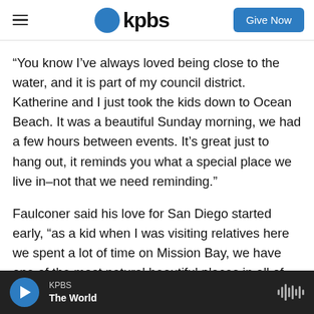kpbs | Give Now
“You know I’ve always loved being close to the water, and it is part of my council district. Katherine and I just took the kids down to Ocean Beach. It was a beautiful Sunday morning, we had a few hours between events. It’s great just to hang out, it reminds you what a special place we live in–not that we need reminding.”
Faulconer said his love for San Diego started early, “as a kid when I was visiting relatives here we spent a lot of time on Mission Bay, we have one of the most natural beautiful places in all of the United
KPBS | The World